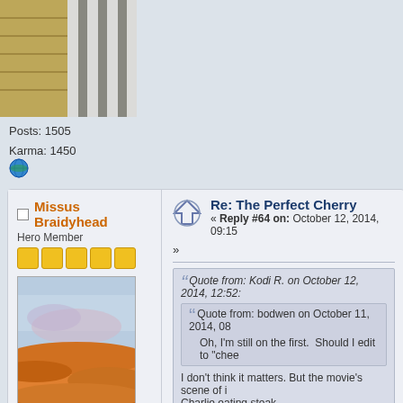[Figure (photo): Partial user avatar photo showing straw/wicker textures and striped patterns, cropped at top]
Posts: 1505
Karma: 1450
[Figure (illustration): Small globe/world icon in green]
Missus Braidyhead
Hero Member
[Figure (illustration): Five yellow star/rank squares]
[Figure (photo): User avatar photo showing colorful desert/sky landscape with orange sand dunes and blue sky]
Re: The Perfect Cherry
« Reply #64 on: October 12, 2014, 09:15
»
Quote from: Kodi R. on October 12, 2014, 12:52:
Quote from: bodwen on October 11, 2014, 08
Oh, I'm still on the first.  Should I edit to "chee
I don't think it matters. But the movie's scene of i Charlie eating steak.
Hmm, I think I know which book/movie yo cheesy YA movie/book, I think it's fine. As